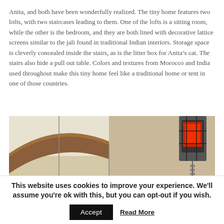Anita, and both have been wonderfully realized. The tiny home features two lofts, with two staircases leading to them. One of the lofts is a sitting room, while the other is the bedroom, and they are both lined with decorative lattice screens similar to the jali found in traditional Indian interiors. Storage space is cleverly concealed inside the stairs, as is the litter box for Anita’s cat. The stairs also hide a pull out table. Colors and textures from Morocco and India used throughout make this tiny home feel like a traditional home or tent in one of those countries.
[Figure (photo): Interior photo of a tiny home showing a wooden arched beam, hanging pendant lights with red glass globes, chains, and decorative elements suggesting Moroccan/Indian style decor.]
This website uses cookies to improve your experience. We’ll assume you’re ok with this, but you can opt-out if you wish.